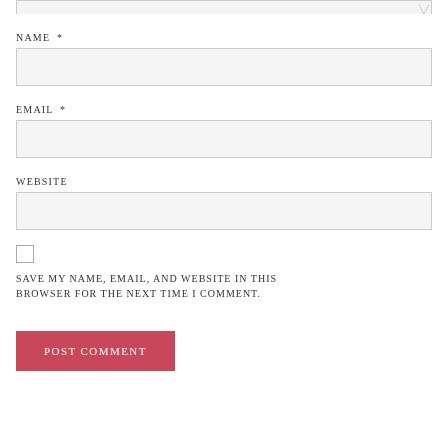[textarea top edge]
NAME *
[name input field]
EMAIL *
[email input field]
WEBSITE
[website input field]
SAVE MY NAME, EMAIL, AND WEBSITE IN THIS BROWSER FOR THE NEXT TIME I COMMENT.
POST COMMENT